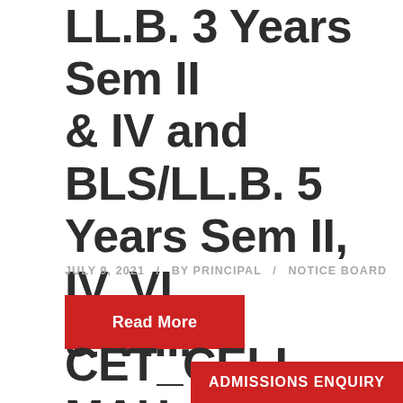LL.B. 3 Years Sem II & IV and BLS/LL.B. 5 Years Sem II, IV, VI & VIII.
JULY 9, 2021 / BY PRINCIPAL / NOTICE BOARD
Read More
CET_CELL – MAH – LL.B. 5 Ye...
ADMISSIONS ENQUIRY